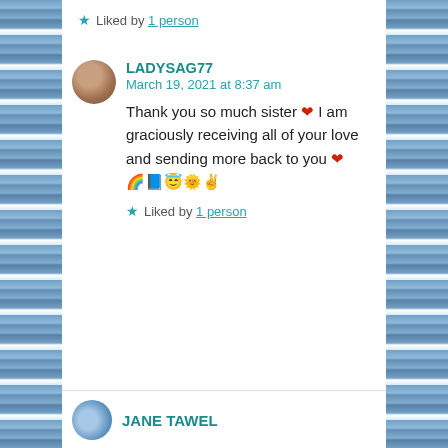★ Liked by 1 person
LADYSAG77
March 19, 2021 at 8:37 am

Thank you so much sister ❤ I am graciously receiving all of your love and sending more back to you ❤ 🌈📘😇🌞✌

★ Liked by 1 person
JANE TAWEL